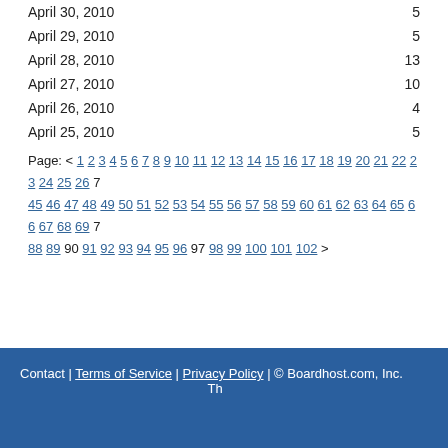| Date | Count |
| --- | --- |
| April 30, 2010 | 5 |
| April 29, 2010 | 5 |
| April 28, 2010 | 13 |
| April 27, 2010 | 10 |
| April 26, 2010 | 4 |
| April 25, 2010 | 5 |
Page: < 1 2 3 4 5 6 7 8 9 10 11 12 13 14 15 16 17 18 19 20 21 22 23 24 25 26 ... 45 46 47 48 49 50 51 52 53 54 55 56 57 58 59 60 61 62 63 64 65 66 67 68 69 7... 88 89 90 91 92 93 94 95 96 97 98 99 100 101 102 >
Contact | Terms of Service | Privacy Policy | © Boardhost.com, Inc.   Th...